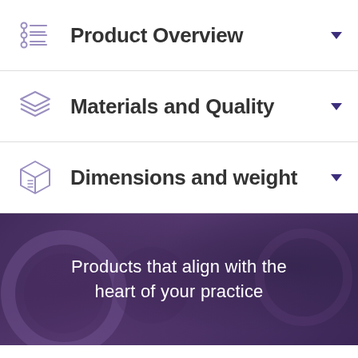Product Overview
Materials and Quality
Dimensions and weight
Products that align with the heart of your practice